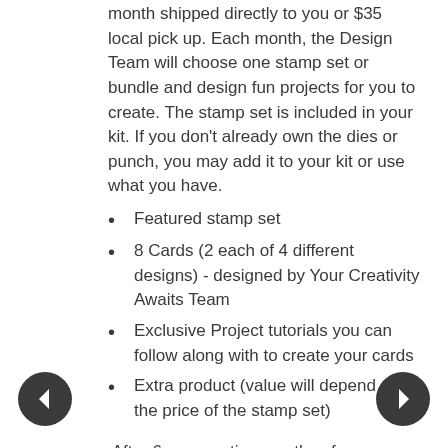month shipped directly to you or $35 local pick up. Each month, the Design Team will choose one stamp set or bundle and design fun projects for you to create. The stamp set is included in your kit. If you don't already own the dies or punch, you may add it to your kit or use what you have.
Featured stamp set
8 Cards (2 each of 4 different designs) - designed by Your Creativity Awaits Team
Exclusive Project tutorials you can follow along with to create your cards
Extra product (value will depend on the price of the stamp set)
After 6 consecutive months of membership, you will receive a thank you of $25 product credit (before shipping and taxes) to spend on whatever you choose!